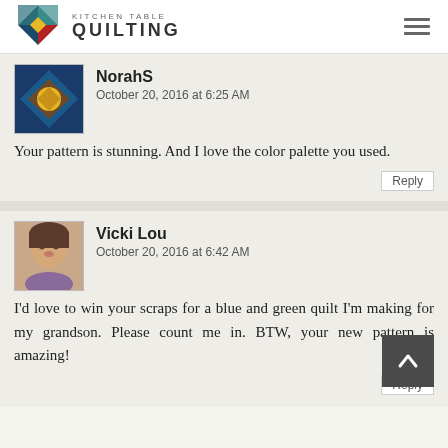Kitchen Table Quilting
[Figure (logo): Kitchen Table Quilting logo with quilt block icon]
NorahS
October 20, 2016 at 6:25 AM
Your pattern is stunning. And I love the color palette you used.
Reply
Vicki Lou
October 20, 2016 at 6:42 AM
I'd love to win your scraps for a blue and green quilt I'm making for my grandson. Please count me in. BTW, your new pattern is amazing!
Reply